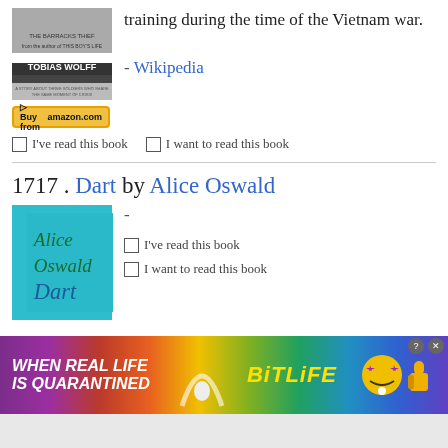training during the time of the Vietnam war.
- Wikipedia
☐ I've read this book   ☐ I want to read this book
1717 . Dart by Alice Oswald
[Figure (photo): Book cover of 'Dart' by Alice Oswald — teal/cyan background with green italic text]
-
☐ I've read this book
☐ I want to read this book
[Figure (screenshot): BitLife advertisement banner: 'WHEN REAL LIFE IS QUARANTINED' with rainbow background and BitLife logo]